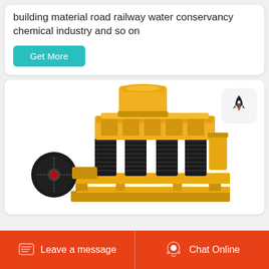building material road railway water conservancy chemical industry and so on
Get More
[Figure (photo): Yellow industrial cone crusher machine with black coil springs and a large black pulley wheel on the left side, on a white background.]
Leave a message
Chat Online